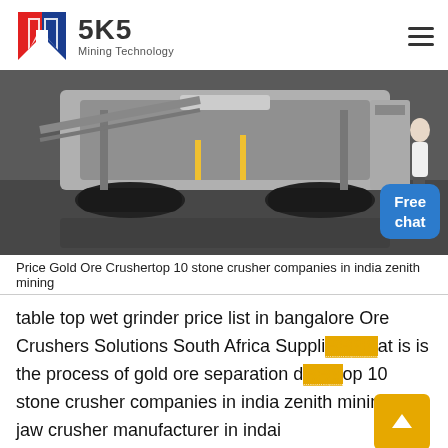SKS Mining Technology
[Figure (photo): Industrial mining crusher machine on tracks, photographed in a large industrial facility. A woman in white stands near the right side.]
Price Gold Ore Crushertop 10 stone crusher companies in india zenith mining
table top wet grinder price list in bangalore Ore Crushers Solutions South Africa Suppli...at is is the process of gold ore separation d...op 10 stone crusher companies in india zenith mining top jaw crusher manufacturer in indai